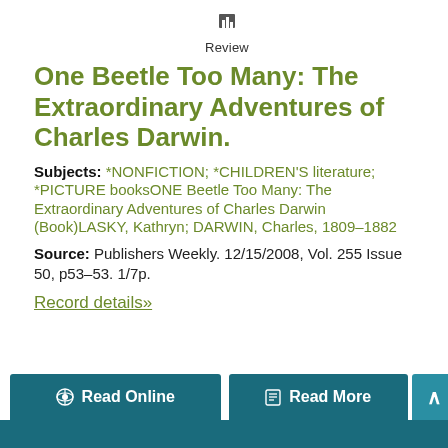Review
One Beetle Too Many: The Extraordinary Adventures of Charles Darwin.
Subjects: *NONFICTION; *CHILDREN'S literature; *PICTURE booksONE Beetle Too Many: The Extraordinary Adventures of Charles Darwin (Book)LASKY, Kathryn; DARWIN, Charles, 1809-1882
Source: Publishers Weekly. 12/15/2008, Vol. 255 Issue 50, p53-53. 1/7p.
Record details»
Read Online   Read More